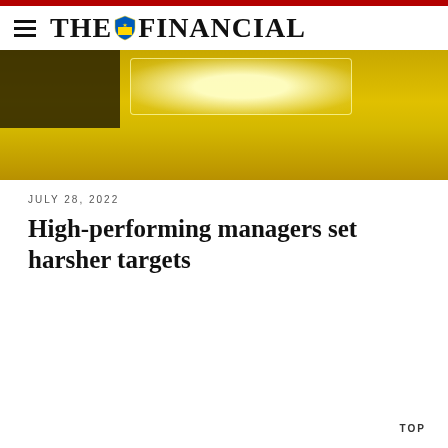THE FINANCIAL
[Figure (photo): Hero image showing a golden/yellow textured background with a dark upper-left corner and a bright glowing rectangle in the center-top area]
JULY 28, 2022
High-performing managers set harsher targets
TOP